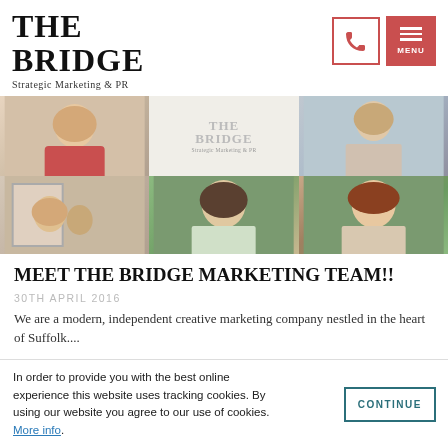THE BRIDGE
Strategic Marketing & PR
[Figure (photo): Grid of 6 photos showing The Bridge Marketing team members — women photographed individually and in groups, plus a logo panel in the center-top]
MEET THE BRIDGE MARKETING TEAM!!
30TH APRIL 2016
We are a modern, independent creative marketing company nestled in the heart of Suffolk....
In order to provide you with the best online experience this website uses tracking cookies. By using our website you agree to our use of cookies.
More info.
CONTINUE